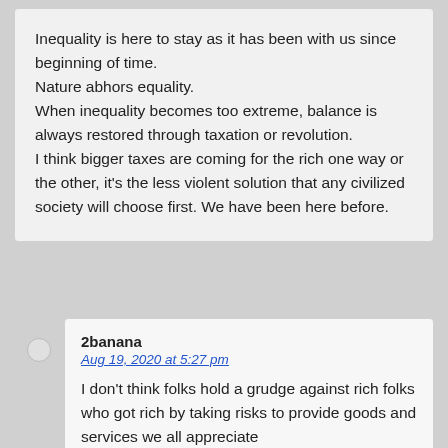Inequality is here to stay as it has been with us since beginning of time. Nature abhors equality. When inequality becomes too extreme, balance is always restored through taxation or revolution. I think bigger taxes are coming for the rich one way or the other, it's the less violent solution that any civilized society will choose first. We have been here before.
2banana
Aug 19, 2020 at 5:27 pm
I don't think folks hold a grudge against rich folks who got rich by taking risks to provide goods and services we all appreciate